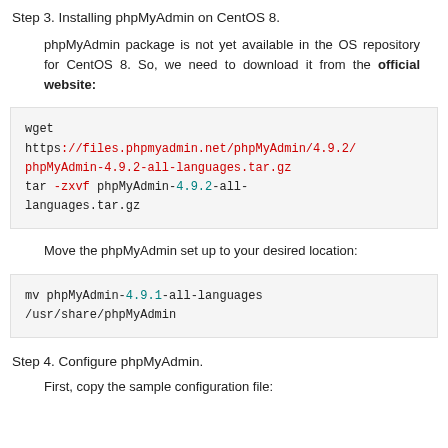Step 3. Installing phpMyAdmin on CentOS 8.
phpMyAdmin package is not yet available in the OS repository for CentOS 8. So, we need to download it from the official website:
wget
https://files.phpmyadmin.net/phpMyAdmin/4.9.2/phpMyAdmin-4.9.2-all-languages.tar.gz
tar -zxvf phpMyAdmin-4.9.2-all-languages.tar.gz
Move the phpMyAdmin set up to your desired location:
mv phpMyAdmin-4.9.1-all-languages /usr/share/phpMyAdmin
Step 4. Configure phpMyAdmin.
First, copy the sample configuration file: